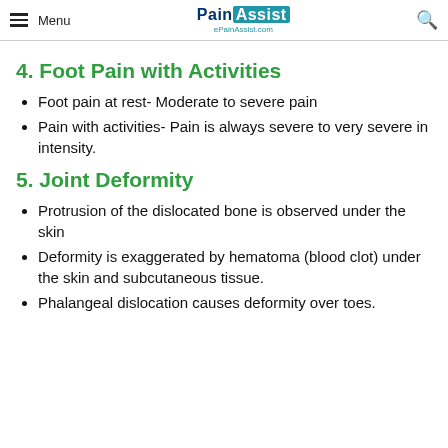Menu | PainAssist ePainAssist.com
4. Foot Pain with Activities
Foot pain at rest- Moderate to severe pain
Pain with activities- Pain is always severe to very severe in intensity.
5. Joint Deformity
Protrusion of the dislocated bone is observed under the skin
Deformity is exaggerated by hematoma (blood clot) under the skin and subcutaneous tissue.
Phalangeal dislocation causes deformity over toes.